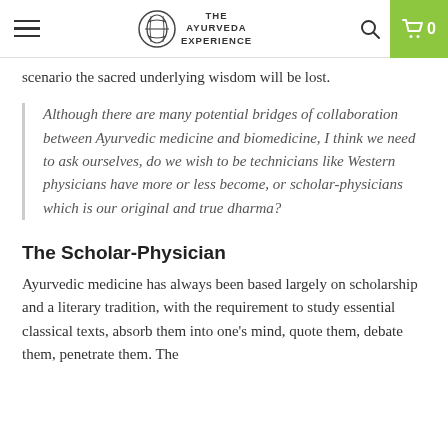The Ayurveda Experience
scenario the sacred underlying wisdom will be lost.
Although there are many potential bridges of collaboration between Ayurvedic medicine and biomedicine, I think we need to ask ourselves, do we wish to be technicians like Western physicians have more or less become, or scholar-physicians which is our original and true dharma?
The Scholar-Physician
Ayurvedic medicine has always been based largely on scholarship and a literary tradition, with the requirement to study essential classical texts, absorb them into one’s mind, quote them, debate them, penetrate them. The